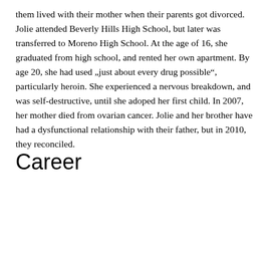them lived with their mother when their parents got divorced. Jolie attended Beverly Hills High School, but later was transferred to Moreno High School. At the age of 16, she graduated from high school, and rented her own apartment. By age 20, she had used „just about every drug possible", particularly heroin. She experienced a nervous breakdown, and was self-destructive, until she adoped her first child. In 2007, her mother died from ovarian cancer. Jolie and her brother have had a dysfunctional relationship with their father, but in 2010, they reconciled.
Career